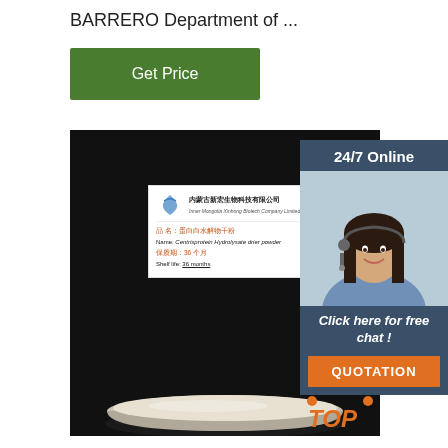BARRERO Department of ...
Get Price
[Figure (photo): Product photo showing a white powder in a petri dish on a black background, with a product label card from Inner Mongolia Xinhong Biotech Company Limited showing Centrisprotein Hydrolysate drier powder, Shelf life: 36 months]
24/7 Online
Click here for free chat !
QUOTATION
[Figure (logo): TOP logo with orange crown/dots icon in bottom right corner of product image]